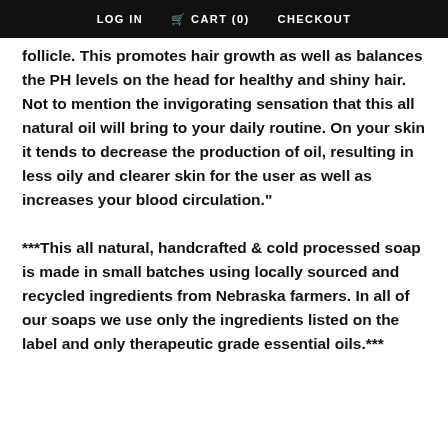LOG IN   CART (0)   CHECKOUT
follicle. This promotes hair growth as well as balances the PH levels on the head for healthy and shiny hair. Not to mention the invigorating sensation that this all natural oil will bring to your daily routine. On your skin it tends to decrease the production of oil, resulting in less oily and clearer skin for the user as well as increases your blood circulation."
***This all natural, handcrafted & cold processed soap is made in small batches using locally sourced and recycled ingredients from Nebraska farmers. In all of our soaps we use only the ingredients listed on the label and only therapeutic grade essential oils.***